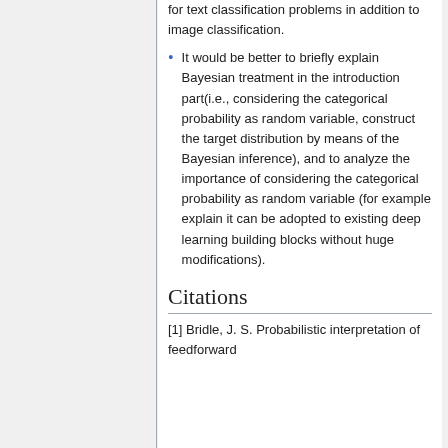for text classification problems in addition to image classification.
It would be better to briefly explain Bayesian treatment in the introduction part(i.e., considering the categorical probability as random variable, construct the target distribution by means of the Bayesian inference), and to analyze the importance of considering the categorical probability as random variable (for example explain it can be adopted to existing deep learning building blocks without huge modifications).
Citations
[1] Bridle, J. S. Probabilistic interpretation of feedforward